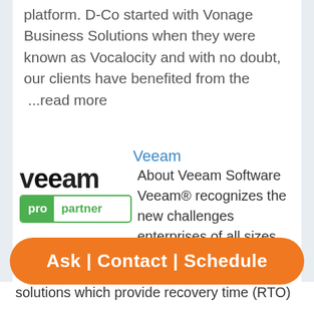platform. D-Co started with Vonage Business Solutions when they were known as Vocalocity and with no doubt, our clients have benefited from the  ...read more
Veeam
[Figure (logo): Veeam Pro Partner logo — VEEAM in bold black text with pro partner badge in green]
About Veeam Software Veeam® recognizes the new challenges enterprises of all sizes across the globe face in enabling the Always-On Business™, one that must operate 24/7/365. To address this, Veeam has
Ask | Contact | Schedule
solutions which provide recovery time (RTO)